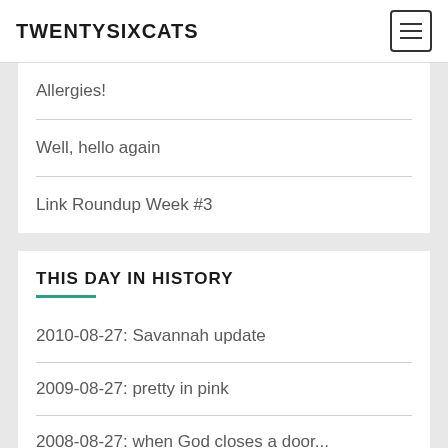TWENTYSIXCATS
Allergies!
Well, hello again
Link Roundup Week #3
THIS DAY IN HISTORY
2010-08-27: Savannah update
2009-08-27: pretty in pink
2008-08-27: when God closes a door...